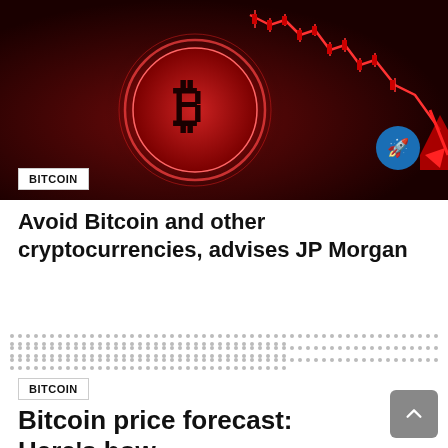[Figure (photo): Dark red/maroon background with a glowing Bitcoin coin in the center and a downward trending red candlestick chart to the upper right, with a red downward arrow at the bottom right. A small circular blue rocket icon is visible at the right side.]
BITCOIN
Avoid Bitcoin and other cryptocurrencies, advises JP Morgan
BITCOIN
Bitcoin price forecast: Here's how